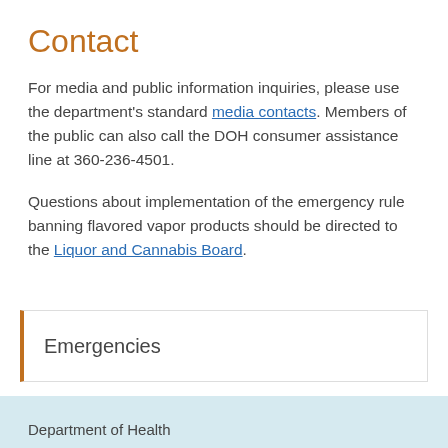Contact
For media and public information inquiries, please use the department's standard media contacts. Members of the public can also call the DOH consumer assistance line at 360-236-4501.
Questions about implementation of the emergency rule banning flavored vapor products should be directed to the Liquor and Cannabis Board.
Emergencies
Department of Health